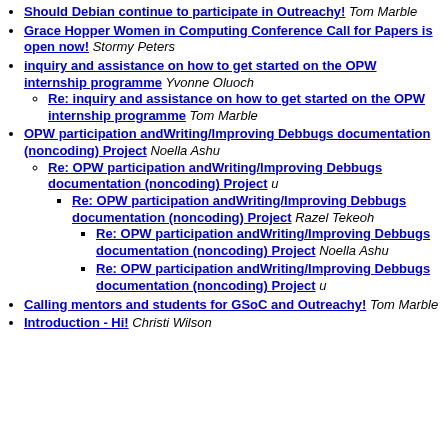Should Debian continue to participate in Outreachy! Tom Marble
Grace Hopper Women in Computing Conference Call for Papers is open now! Stormy Peters
inquiry and assistance on how to get started on the OPW internship programme Yvonne Oluoch
Re: inquiry and assistance on how to get started on the OPW internship programme Tom Marble
OPW participation andWriting/Improving Debbugs documentation (noncoding) Project Noella Ashu
Re: OPW participation andWriting/Improving Debbugs documentation (noncoding) Project u
Re: OPW participation andWriting/Improving Debbugs documentation (noncoding) Project Razel Tekeoh
Re: OPW participation andWriting/Improving Debbugs documentation (noncoding) Project Noella Ashu
Re: OPW participation andWriting/Improving Debbugs documentation (noncoding) Project u
Calling mentors and students for GSoC and Outreachy! Tom Marble
Introduction - Hi! Christi Wilson